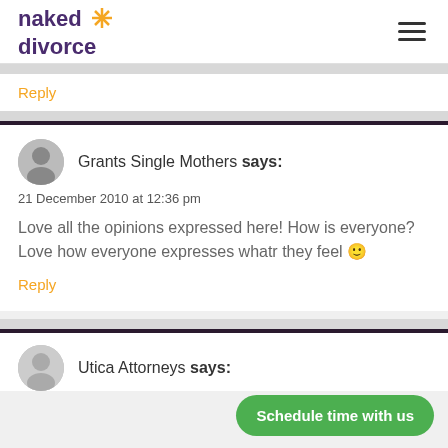naked divorce
Reply
Grants Single Mothers says:
21 December 2010 at 12:36 pm
Love all the opinions expressed here! How is everyone? Love how everyone expresses whatr they feel 🙂
Reply
Utica Attorneys says: